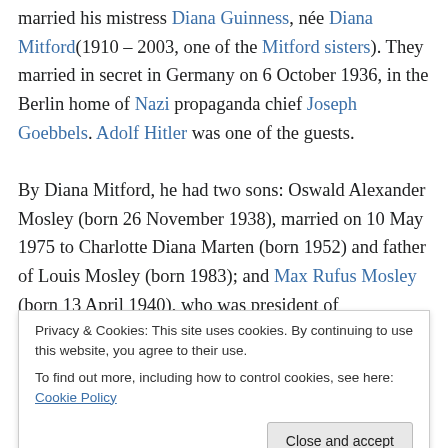married his mistress Diana Guinness, née Diana Mitford(1910 – 2003, one of the Mitford sisters). They married in secret in Germany on 6 October 1936, in the Berlin home of Nazi propaganda chief Joseph Goebbels. Adolf Hitler was one of the guests.
By Diana Mitford, he had two sons: Oswald Alexander Mosley (born 26 November 1938), married on 10 May 1975 to Charlotte Diana Marten (born 1952) and father of Louis Mosley (born 1983); and Max Rufus Mosley (born 13 April 1940), who was president of the Fédération Internationale de l'Automobile (FIA) for 16 years.
Privacy & Cookies: This site uses cookies. By continuing to use this website, you agree to their use. To find out more, including how to control cookies, see here: Cookie Policy
[Figure (other): Italian Fascist flag image thumbnail with alt text label]